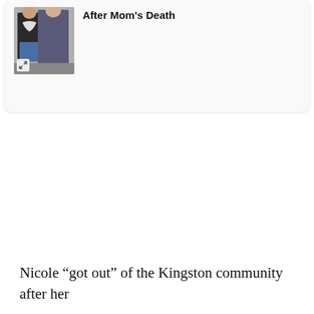[Figure (photo): Thumbnail photo of two people standing together, one wearing a black top with white design and jeans, the other in a dark outfit]
After Mom's Death
Nicole “got out” of the Kingston community after her